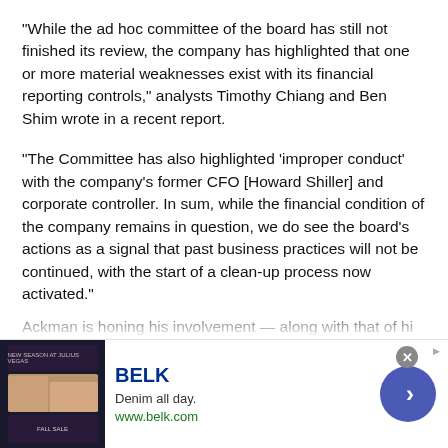"While the ad hoc committee of the board has still not finished its review, the company has highlighted that one or more material weaknesses exist with its financial reporting controls," analysts Timothy Chiang and Ben Shim wrote in a recent report.
"The Committee has also highlighted 'improper conduct' with the company's former CFO [Howard Shiller] and corporate controller. In sum, while the financial condition of the company remains in question, we do see the board's actions as a signal that past business practices will not be continued, with the start of a clean-up process now activated."
Ackman is honing his involvement — along with that of hi
[Figure (other): BELK advertisement banner: 'Denim all day. www.belk.com' with denim clothing imagery on the left, a right-arrow navigation button, and a close (X) button.]